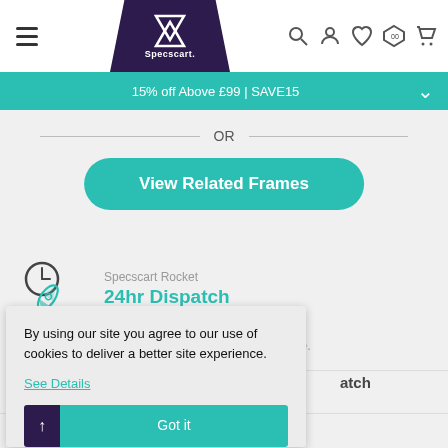Specscart — 15% off Above £99 | SAVE15
OR
View Related Frames
Specscart Rocket
24hr Dispatch
Subject to lens combination and 1 PM cut off time.
By using our site you agree to our use of cookies to deliver a better site experience.
See Details
Got it
atch
Free Case, Cleaning Solution & Designer Cloth